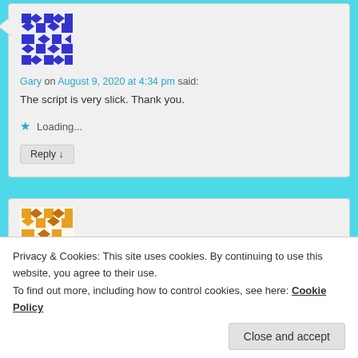[Figure (illustration): Geometric avatar icon with blue/purple diamond and cross pattern for user Gary]
Gary on August 9, 2020 at 4:34 pm said:
The script is very slick. Thank you.
Loading...
Reply ↓
[Figure (illustration): Geometric avatar icon with orange/yellow diamond and arrow pattern for second commenter]
Privacy & Cookies: This site uses cookies. By continuing to use this website, you agree to their use.
To find out more, including how to control cookies, see here: Cookie Policy
Close and accept
but I have low data plan.